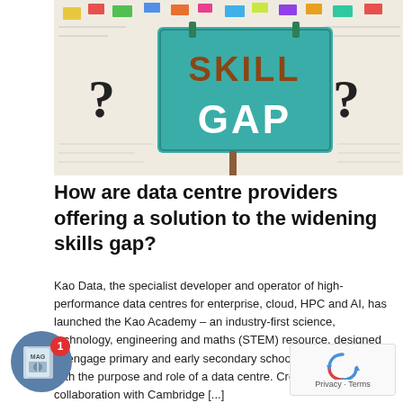[Figure (photo): Photo of a teal sign reading 'SKILL GAP' in large letters, with question marks on either side, surrounded by colorful sticky notes and clips on a whiteboard/paper background.]
How are data centre providers offering a solution to the widening skills gap?
Kao Data, the specialist developer and operator of high-performance data centres for enterprise, cloud, HPC and AI, has launched the Kao Academy – an industry-first science, technology, engineering and maths (STEM) resource, designed to engage primary and early secondary school-aged children with the purpose and role of a data centre. Created in collaboration with Cambridge [...]